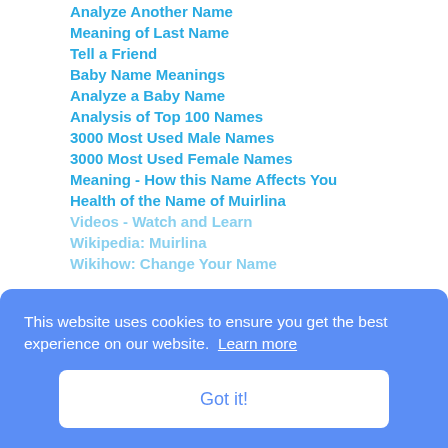Analyze Another Name
Meaning of Last Name
Tell a Friend
Baby Name Meanings
Analyze a Baby Name
Analysis of Top 100 Names
3000 Most Used Male Names
3000 Most Used Female Names
Meaning - How this Name Affects You
Health of the Name of Muirlina
Videos - Watch and Learn
Wikipedia: Muirlina
Wikihow: Change Your Name
This website uses cookies to ensure you get the best experience on our website. Learn more
Got it!